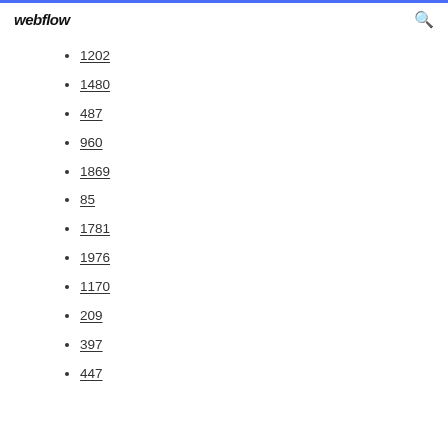webflow
1202
1480
487
960
1869
85
1781
1976
1170
209
397
447